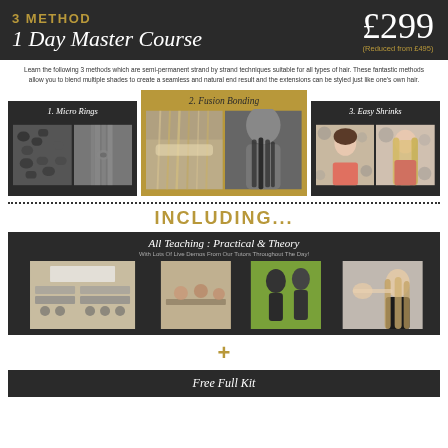3 METHOD
1 Day Master Course
£299
(Reduced from £495)
Learn the following 3 methods which are semi-permanent strand by strand techniques suitable for all types of hair. These fantastic methods allow you to blend multiple shades to create a seamless and natural end result and the extensions can be styled just like one's own hair.
[Figure (photo): 1. Micro Rings - two photos showing micro ring hair extensions]
[Figure (photo): 2. Fusion Bonding - two photos showing fusion bonding hair extensions]
[Figure (photo): 3. Easy Shrinks - two photos showing before and after easy shrinks hair extensions]
INCLUDING...
[Figure (photo): All Teaching: Practical & Theory - four classroom and practical session photos with text 'With Lots Of Live Demos From Our Tutors Throughout The Day!']
+
Free Full Kit